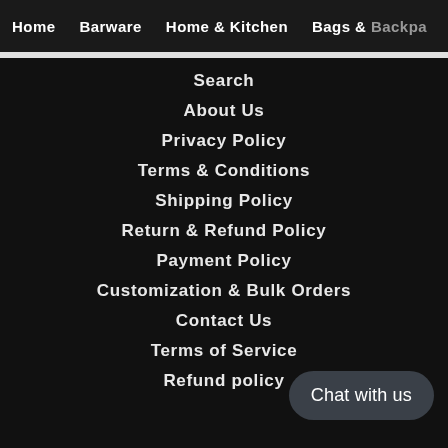Home   Barware   Home & Kitchen   Bags & Backpa…
Search
About Us
Privacy Policy
Terms & Conditions
Shipping Policy
Return & Refund Policy
Payment Policy
Customization & Bulk Orders
Contact Us
Terms of Service
Refund policy
Chat with us